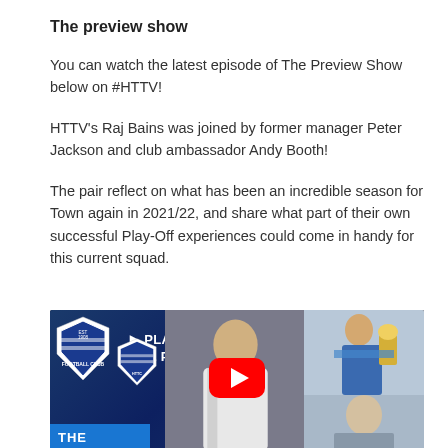The preview show
You can watch the latest episode of The Preview Show below on #HTTV!
HTTV's Raj Bains was joined by former manager Peter Jackson and club ambassador Andy Booth!
The pair reflect on what has been an incredible season for Town again in 2021/22, and share what part of their own successful Play-Off experiences could come in handy for this current squad.
[Figure (screenshot): YouTube video thumbnail showing 'PLAY-OFF SPECIAL! | THE PREV...' with Huddersfield Town Football Club logos, a man in a suit gesturing, a person holding a trophy, and a smaller portrait photo in the bottom right. A red YouTube play button is centered on the thumbnail. Blue 'THE' text block appears bottom-left.]